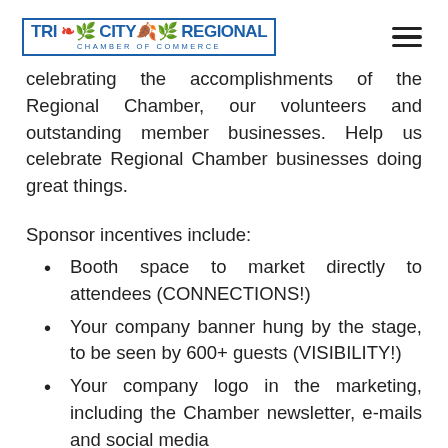[Figure (logo): Tri City Regional Chamber of Commerce logo]
celebrating the accomplishments of the Regional Chamber, our volunteers and outstanding member businesses. Help us celebrate Regional Chamber businesses doing great things.
Sponsor incentives include:
Booth space to market directly to attendees (CONNECTIONS!)
Your company banner hung by the stage, to be seen by 600+ guests (VISIBILITY!)
Your company logo in the marketing, including the Chamber newsletter, e-mails and social media